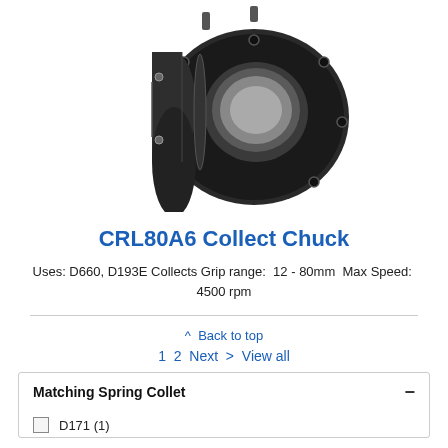[Figure (photo): Product photo of CRL80A6 Collect Chuck — a black cylindrical machined metal collet chuck with bolt holes around the flange and a central bore opening visible from the front, shown from a slight angle]
CRL80A6 Collect Chuck
Uses: D660, D193E Collects Grip range:  12 - 80mm  Max Speed:  4500 rpm
^ Back to top
1  2  Next  >  View all
Matching Spring Collet
D171 (1)